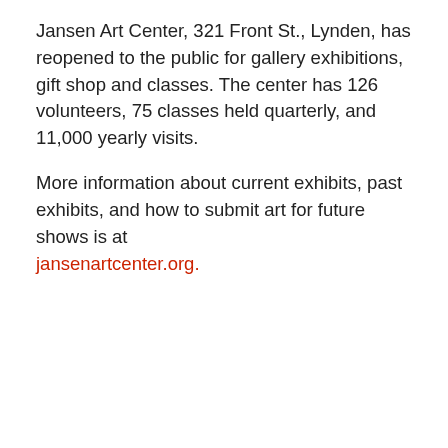Jansen Art Center, 321 Front St., Lynden, has reopened to the public for gallery exhibitions, gift shop and classes. The center has 126 volunteers, 75 classes held quarterly, and 11,000 yearly visits.
More information about current exhibits, past exhibits, and how to submit art for future shows is at jansenartcenter.org.
Source link
Previous Post
Review: 'Nightmare Alley' and great ticket to so media...